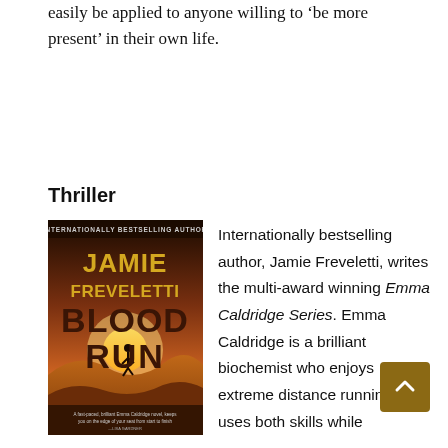easily be applied to anyone willing to 'be more present' in their own life.
Thriller
[Figure (photo): Book cover of 'Blood Run' by Jamie Freveletti, internationally bestselling author. Dark orange/sunset desert background with a silhouette of a person running. Title 'BLOOD RUN' in large dark brown letters, author name 'JAMIE FREVELETTI' in gold letters at top.]
Internationally bestselling author, Jamie Freveletti, writes the multi-award winning Emma Caldridge Series. Emma Caldridge is a brilliant biochemist who enjoys extreme distance running. She uses both skills while